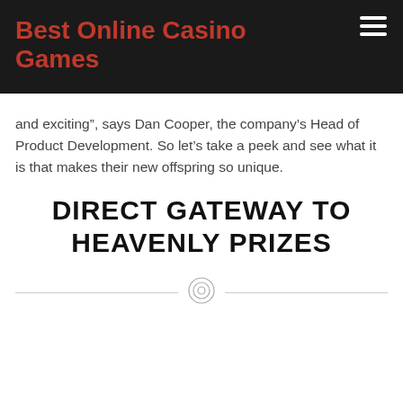Best Online Casino Games
and exciting”, says Dan Cooper, the company’s Head of Product Development. So let’s take a peek and see what it is that makes their new offspring so unique.
DIRECT GATEWAY TO HEAVENLY PRIZES